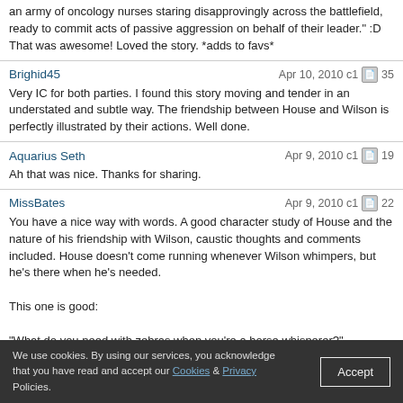an army of oncology nurses staring disapprovingly across the battlefield, ready to commit acts of passive aggression on behalf of their leader." :D That was awesome! Loved the story. *adds to favs*
Brighid45 — Apr 10, 2010 c1 35
Very IC for both parties. I found this story moving and tender in an understated and subtle way. The friendship between House and Wilson is perfectly illustrated by their actions. Well done.
Aquarius Seth — Apr 9, 2010 c1 19
Ah that was nice. Thanks for sharing.
MissBates — Apr 9, 2010 c1 22
You have a nice way with words. A good character study of House and the nature of his friendship with Wilson, caustic thoughts and comments included. House doesn't come running whenever Wilson whimpers, but he's there when he's needed.

This one is good:

"What do you need with zebras when you're a horse whisperer?"

It captures the difference in their respective tasks, House looking for the unusual, whereas Wilson has to mend the warped normal.
Arisprite — Apr 9, 2010 c1 81
This was beautiful! Your House is just perfect, and
We use cookies. By using our services, you acknowledge that you have read and accept our Cookies & Privacy Policies.